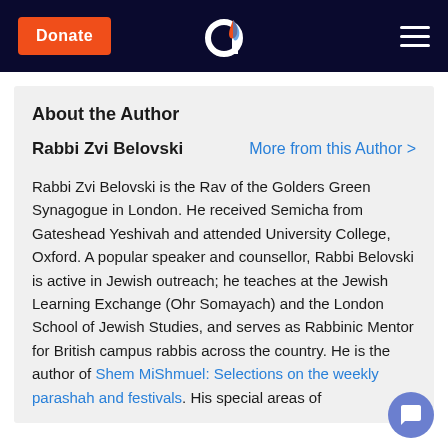Donate | [logo] | [menu]
About the Author
Rabbi Zvi Belovski    More from this Author >
Rabbi Zvi Belovski is the Rav of the Golders Green Synagogue in London. He received Semicha from Gateshead Yeshivah and attended University College, Oxford. A popular speaker and counsellor, Rabbi Belovski is active in Jewish outreach; he teaches at the Jewish Learning Exchange (Ohr Somayach) and the London School of Jewish Studies, and serves as Rabbinic Mentor for British campus rabbis across the country. He is the author of Shem MiShmuel: Selections on the weekly parashah and festivals. His special areas of